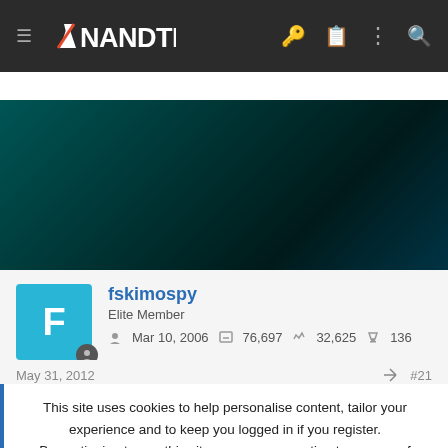[Figure (logo): AnandTech website navigation bar with hamburger menu, AnandTech logo, and icons for key, clipboard, menu, and search on dark background]
[Figure (photo): Dark teal/green gradient banner image area]
fskimospy
Elite Member
Mar 10, 2006   76,697   32,625   136
May 31, 2012   #21
This site uses cookies to help personalise content, tailor your experience and to keep you logged in if you register.
By continuing to use this site, you are consenting to our use of cookies.